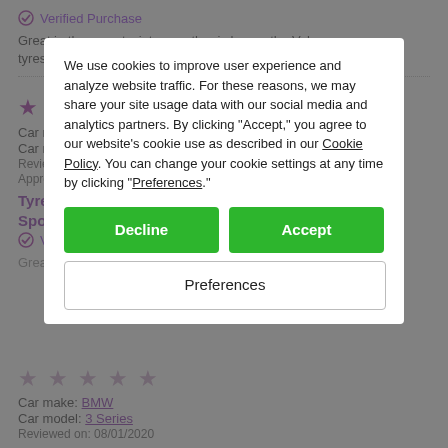✓ Verified Purchase
Great in the recent winter weather i change the Volvo tyres each winter season .
★ ★ ★ ★ ★
Car make: Hyundai
Car model: Tucson
Reviewed on: 10/06/2020
Approx. miles driven: 5,500
Tyre review for Radar Dimax Winter Sport (Winter Tyre) 225/60 R17 H (0)
We use cookies to improve user experience and analyze website traffic. For these reasons, we may share your site usage data with our social media and analytics partners. By clicking "Accept," you agree to our website's cookie use as described in our Cookie Policy. You can change your cookie settings at any time by clicking "Preferences."
Decline
Accept
Preferences
★ ★ ★ ★ ★
Car make: BMW
Car model: 3 Series
Reviewed on: 08/01/2020